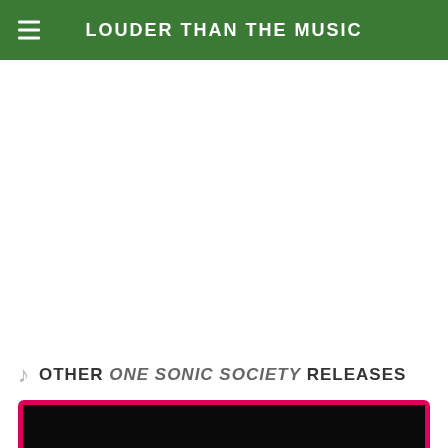LOUDER THAN THE MUSIC
OTHER ONE SONIC SOCIETY RELEASES
[Figure (other): A dark album art card with a bright pink/red border at the bottom of the page]